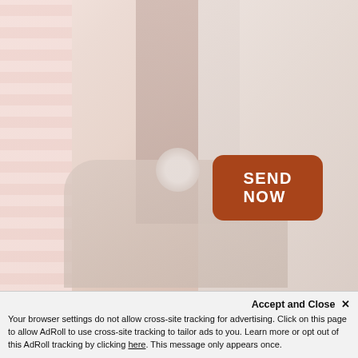[Figure (photo): Washed-out/faded photo of a medical professional using a stethoscope on a patient's arm/knee. Doctor appears to be wearing a dark vest and white shirt or lab coat. Patient clothing shows horizontal stripes on left. The image has a very light, desaturated warm tone overlay.]
SEND NOW
Accept and Close ✕
Your browser settings do not allow cross-site tracking for advertising. Click on this page to allow AdRoll to use cross-site tracking to tailor ads to you. Learn more or opt out of this AdRoll tracking by clicking here. This message only appears once.